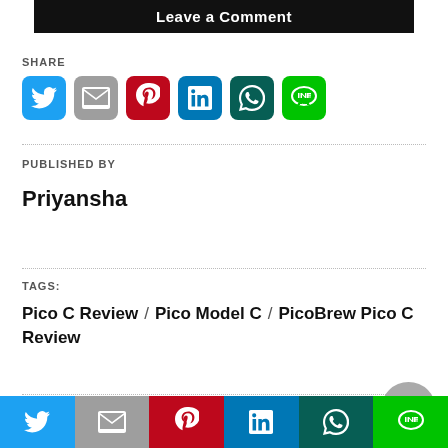Leave a Comment
SHARE
[Figure (infographic): Social share icons: Twitter (blue), Gmail (grey), Pinterest (red), LinkedIn (blue), WhatsApp (dark green), Line (green)]
PUBLISHED BY
Priyansha
TAGS:
Pico C Review / Pico Model C / PicoBrew Pico C Review
5 YEARS AGO
[Figure (infographic): Bottom social share bar with Twitter, Gmail, Pinterest, LinkedIn, WhatsApp, Line icons]